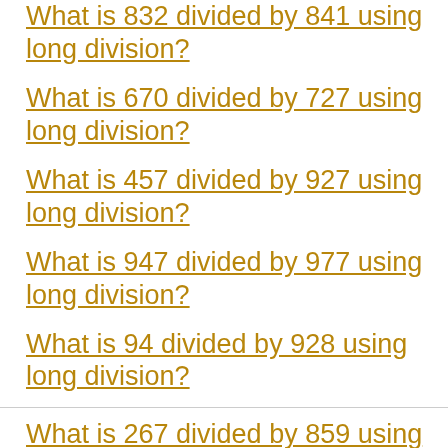What is 832 divided by 841 using long division?
What is 670 divided by 727 using long division?
What is 457 divided by 927 using long division?
What is 947 divided by 977 using long division?
What is 94 divided by 928 using long division?
What is 267 divided by 859 using long division?